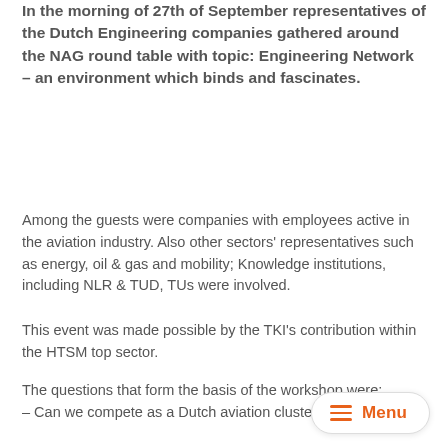In the morning of 27th of September representatives of the Dutch Engineering companies gathered around the NAG round table with topic: Engineering Network – an environment which binds and fascinates.
Among the guests were companies with employees active in the aviation industry. Also other sectors' representatives such as energy, oil & gas and mobility; Knowledge institutions, including NLR & TUD, TUs were involved.
This event was made possible by the TKI's contribution within the HTSM top sector.
The questions that form the basis of the workshop were:
– Can we compete as a Dutch aviation cluster?